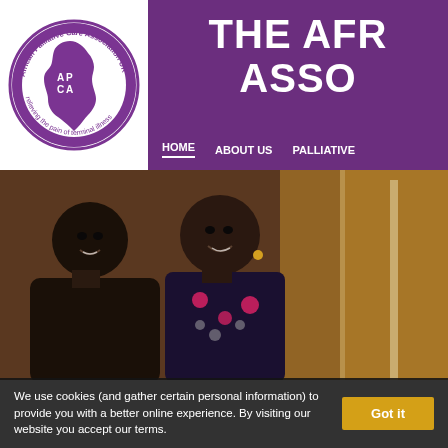[Figure (logo): African Palliative Care Association UK circular logo with APCA text and Africa map silhouette, purple and white, with text 'relieving the pain of terminal illness']
THE AFR ASSO
HOME  ABOUT US  PALLIATIVE
[Figure (photo): Two African women smiling, one wearing a black top and one wearing a colorful patterned dress, photographed outdoors in warm light]
We use cookies (and gather certain personal information) to provide you with a better online experience. By visiting our website you accept our terms.